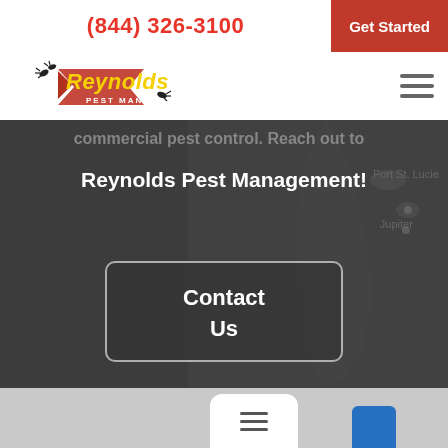(844) 326-3100
Get Started
[Figure (logo): Reynolds Pest Management logo with yellow text, red lightning bolt shape, and ant silhouettes]
commercial pest control. Reach out to Reynolds Pest Management!
Contact Us